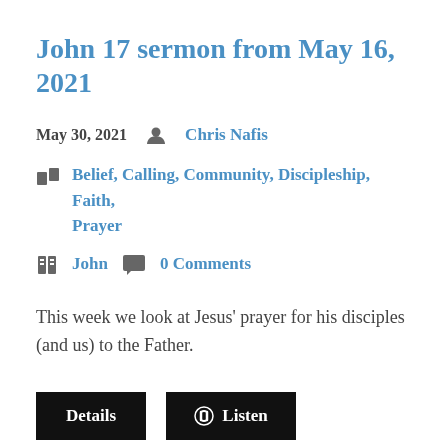John 17 sermon from May 16, 2021
May 30, 2021   Chris Nafis
Belief, Calling, Community, Discipleship, Faith, Prayer
John   0 Comments
This week we look at Jesus' prayer for his disciples (and us) to the Father.
Details   Listen